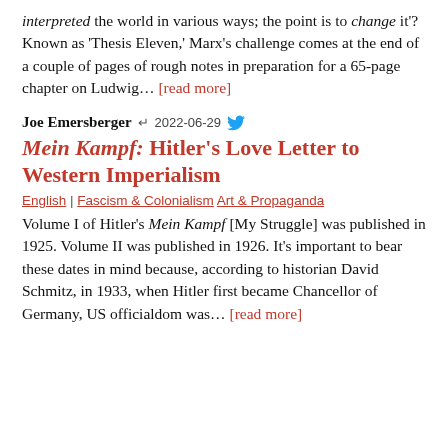interpreted the world in various ways; the point is to change it'? Known as 'Thesis Eleven,' Marx's challenge comes at the end of a couple of pages of rough notes in preparation for a 65-page chapter on Ludwig… [read more]
Joe Emersberger ↵ 2022-06-29 [twitter]
Mein Kampf: Hitler's Love Letter to Western Imperialism
English | Fascism & Colonialism Art & Propaganda
Volume I of Hitler's Mein Kampf [My Struggle] was published in 1925. Volume II was published in 1926. It's important to bear these dates in mind because, according to historian David Schmitz, in 1933, when Hitler first became Chancellor of Germany, US officialdom was… [read more]